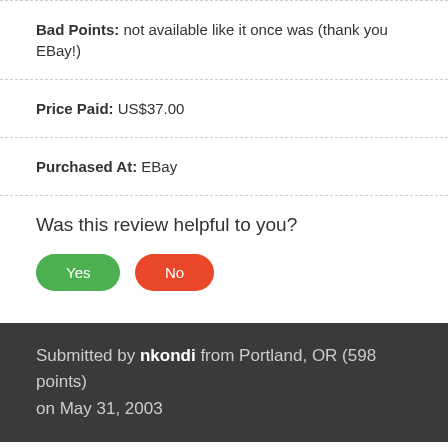Bad Points: not available like it once was (thank you EBay!)
Price Paid: US$37.00
Purchased At: EBay
Was this review helpful to you?
Submitted by nkondi from Portland, OR (598 points) on May 31, 2003
this is alot more dayglow than the photo shows. but this ugly pedal was a blessing in disguise. this thing is loud...deffinately louder than the supra distortion. this is one of my favorite distortions...